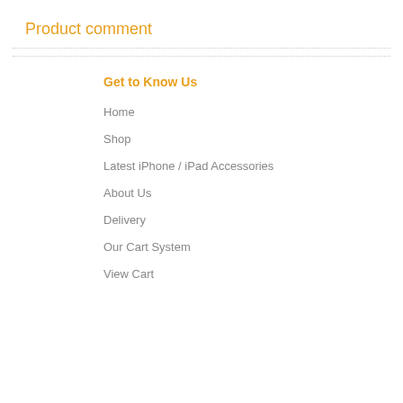Product comment
Get to Know Us
Home
Shop
Latest iPhone / iPad Accessories
About Us
Delivery
Our Cart System
View Cart